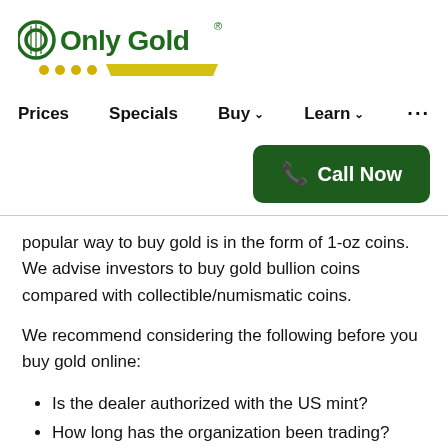[Figure (logo): Only Gold logo with green text and gold/yellow decorative bar and dots]
Prices   Specials   Buy ▾   Learn ▾   ...
[Figure (other): Call Now button - dark green rounded rectangle with phone icon]
popular way to buy gold is in the form of 1-oz coins. We advise investors to buy gold bullion coins compared with collectible/numismatic coins.
We recommend considering the following before you buy gold online:
Is the dealer authorized with the US mint?
How long has the organization been trading?